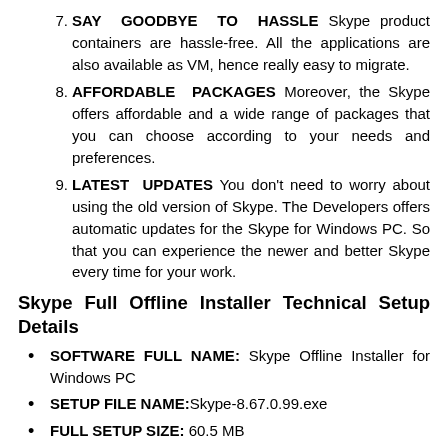SAY GOODBYE TO HASSLE Skype product containers are hassle-free. All the applications are also available as VM, hence really easy to migrate.
AFFORDABLE PACKAGES Moreover, the Skype offers affordable and a wide range of packages that you can choose according to your needs and preferences.
LATEST UPDATES You don't need to worry about using the old version of Skype. The Developers offers automatic updates for the Skype for Windows PC. So that you can experience the newer and better Skype every time for your work.
Skype Full Offline Installer Technical Setup Details
SOFTWARE FULL NAME: Skype Offline Installer for Windows PC
SETUP FILE NAME: Skype-8.67.0.99.exe
FULL SETUP SIZE: 60.5 MB